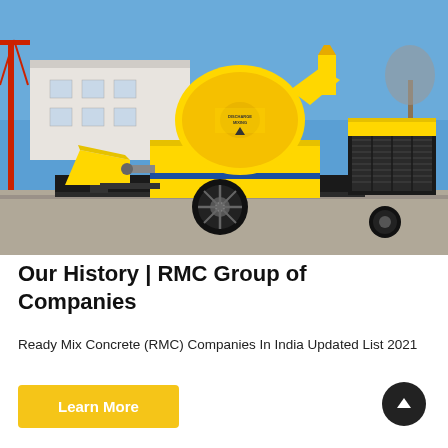[Figure (photo): Yellow ready-mix concrete pump truck / mixer machine on a paved surface outside an industrial building with blue sky. The machine is bright yellow with black components and a large drum mixer.]
Our History | RMC Group of Companies
Ready Mix Concrete (RMC) Companies In India Updated List 2021
Learn More